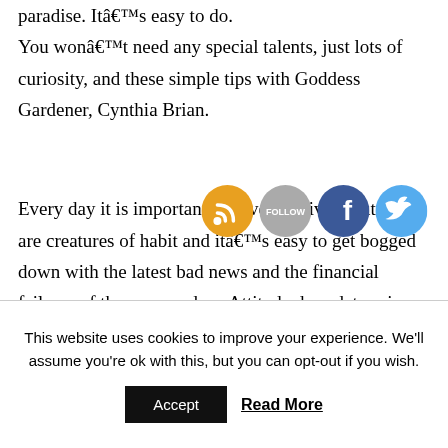paradise. Itâs easy to do. You wonât need any special talents, just lots of curiosity, and these simple tips with Goddess Gardener, Cynthia Brian.
[Figure (other): Social media icons: RSS feed (orange), Follow (gray), Facebook (blue), Twitter (light blue)]
Every day it is important to have positive input. We are creatures of habit and itâs easy to get bogged down with the latest bad news and the financial failures of those around us. Attitude does determine our altitude. Find out how to make yours soar with Cynthia Brianâs book, Be the Star You Are!Â® 99
This website uses cookies to improve your experience. We'll assume you're ok with this, but you can opt-out if you wish.